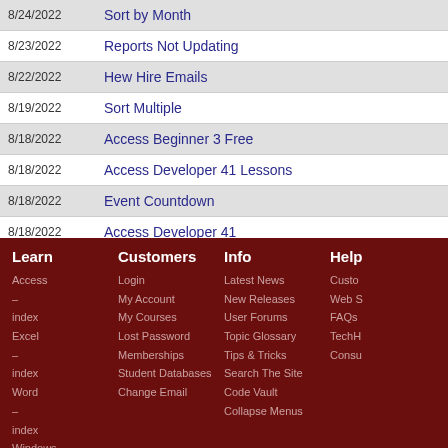| Date | Title |
| --- | --- |
| 8/24/2022 | Sort by Month |
| 8/23/2022 | Reports Not Updating |
| 8/22/2022 | Hew Hire Emails |
| 8/19/2022 | Sort Multiple |
| 8/18/2022 | Access Beginner 3 Free |
| 8/18/2022 | Access Developer 41 Lessons |
| 8/18/2022 | Event Countdown |
| 8/18/2022 | Access Developer 41 |
| 8/18/2022 | Access Developer 41 |
| 8/17/2022 | Access Developer 40 |
Learn | Customers | Info | Help
Access – index
Excel – index
Word – index
Windows – index
PowerPoint – index
Photoshop – index
Visual Basic – index
Login
My Account
My Courses
Lost Password
Memberships
Student Databases
Change Email
Latest News
New Releases
User Forums
Topic Glossary
Tips & Tricks
Search The Site
Code Vault
Collapse Menus
Customer...
Web S...
FAQs
TechH...
Consu...